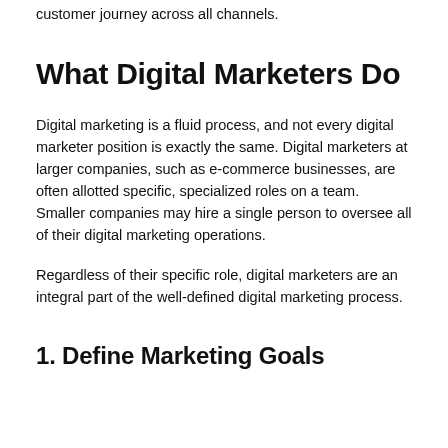customer journey across all channels.
What Digital Marketers Do
Digital marketing is a fluid process, and not every digital marketer position is exactly the same. Digital marketers at larger companies, such as e-commerce businesses, are often allotted specific, specialized roles on a team. Smaller companies may hire a single person to oversee all of their digital marketing operations.
Regardless of their specific role, digital marketers are an integral part of the well-defined digital marketing process.
1. Define Marketing Goals